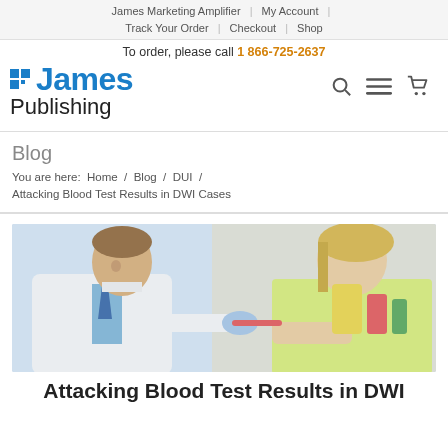James Marketing Amplifier | My Account | Track Your Order | Checkout | Shop
To order, please call 1 866-725-2637
[Figure (logo): James Publishing logo with blue grid icon, 'James' in blue and 'Publishing' in dark text]
Blog
You are here: Home / Blog / DUI / Attacking Blood Test Results in DWI Cases
[Figure (photo): Photo of a male doctor in white coat drawing blood from a female patient's arm in a laboratory setting]
Attacking Blood Test Results in DWI